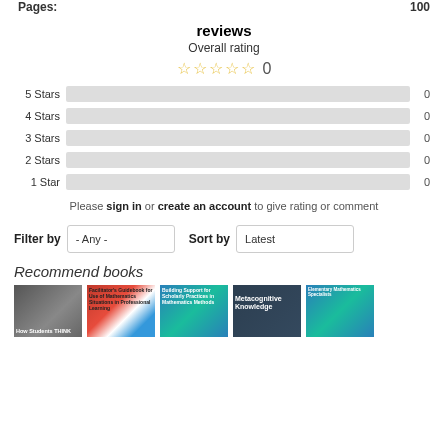Pages: 100
reviews
Overall rating
[Figure (other): 5 empty gold stars with rating 0]
[Figure (bar-chart): Star ratings distribution]
Please sign in or create an account to give rating or comment
Filter by  - Any -  Sort by  Latest
Recommend books
[Figure (photo): Row of 5 book covers: How Students Think, Facilitator's Guidebook for Use of Mathematics Situations in Professional Learning, Building Support for Scholarly Practices in Mathematics Methods, Metacognitive Knowledge, Elementary Mathematics Specialists]